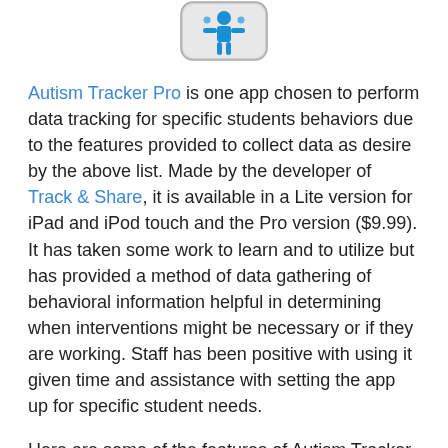[Figure (logo): Autism Tracker Pro app icon showing a stylized figure on a rounded rectangle badge]
Autism Tracker Pro is one app chosen to perform data tracking for specific students behaviors due to the features provided to collect data as desire by the above list. Made by the developer of Track & Share, it is available in a Lite version for iPad and iPod touch and the Pro version ($9.99). It has taken some work to learn and to utilize but has provided a method of data gathering of behavioral information helpful in determining when interventions might be necessary or if they are working. Staff has been positive with using it given time and assistance with setting the app up for specific student needs.
Here are some of the features of Autism Tracker Pro app: